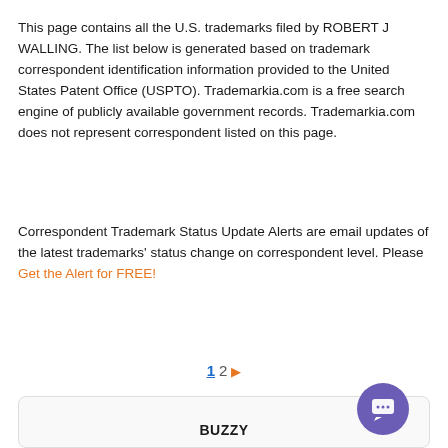This page contains all the U.S. trademarks filed by ROBERT J WALLING. The list below is generated based on trademark correspondent identification information provided to the United States Patent Office (USPTO). Trademarkia.com is a free search engine of publicly available government records. Trademarkia.com does not represent correspondent listed on this page.
Correspondent Trademark Status Update Alerts are email updates of the latest trademarks' status change on correspondent level. Please Get the Alert for FREE!
1  2  ▶
BUZZY